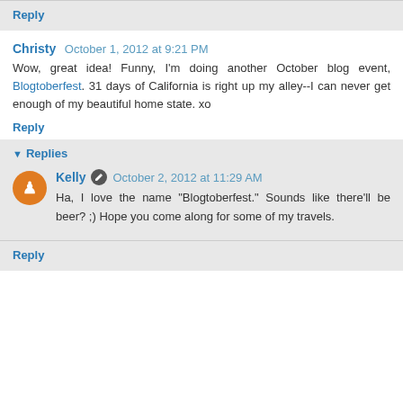Reply
Christy October 1, 2012 at 9:21 PM
Wow, great idea! Funny, I'm doing another October blog event, Blogtoberfest. 31 days of California is right up my alley--I can never get enough of my beautiful home state. xo
Reply
Replies
Kelly October 2, 2012 at 11:29 AM
Ha, I love the name "Blogtoberfest." Sounds like there'll be beer? ;) Hope you come along for some of my travels.
Reply